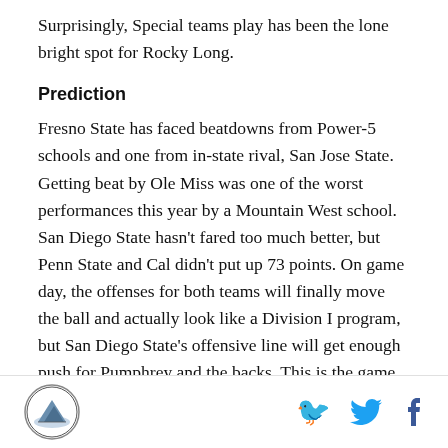Surprisingly, Special teams play has been the lone bright spot for Rocky Long.
Prediction
Fresno State has faced beatdowns from Power-5 schools and one from in-state rival, San Jose State. Getting beat by Ole Miss was one of the worst performances this year by a Mountain West school. San Diego State hasn't fared too much better, but Penn State and Cal didn't put up 73 points. On game day, the offenses for both teams will finally move the ball and actually look like a Division I program, but San Diego State's offensive line will get enough push for Pumphrey and the backs. This is the game where San Diego State finally gets the message and makes